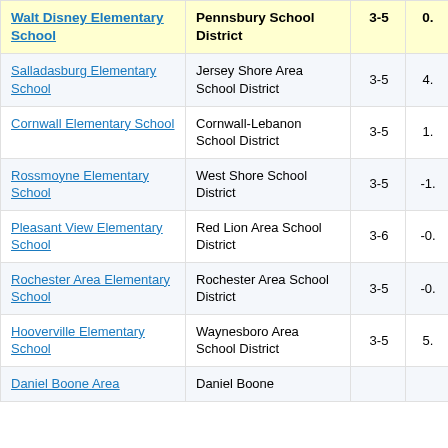| School Name | District | Grades | Value |
| --- | --- | --- | --- |
| Walt Disney Elementary School | Pennsbury School District | 3-5 | 0. |
| Salladasburg Elementary School | Jersey Shore Area School District | 3-5 | 4. |
| Cornwall Elementary School | Cornwall-Lebanon School District | 3-5 | 1. |
| Rossmoyne Elementary School | West Shore School District | 3-5 | -1. |
| Pleasant View Elementary School | Red Lion Area School District | 3-6 | -0. |
| Rochester Area Elementary School | Rochester Area School District | 3-5 | -0. |
| Hooverville Elementary School | Waynesboro Area School District | 3-5 | 5. |
| Daniel Boone Area … | Daniel Boone … |  |  |